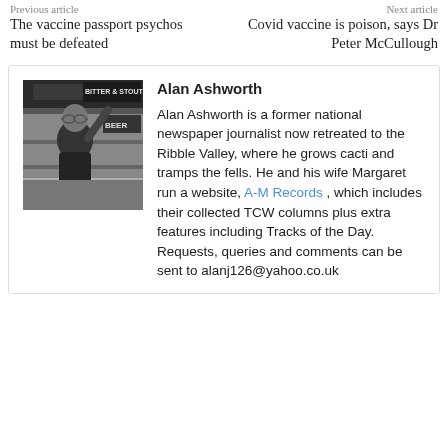Previous article
Next article
The vaccine passport psychos must be defeated
Covid vaccine is poison, says Dr Peter McCullough
[Figure (photo): Black and white photo of Alan Ashworth in what appears to be a pub or shop, raising his hand, with a 'Bitter & Stout' sign visible in the background.]
Alan Ashworth

Alan Ashworth is a former national newspaper journalist now retreated to the Ribble Valley, where he grows cacti and tramps the fells. He and his wife Margaret run a website, A-M Records , which includes their collected TCW columns plus extra features including Tracks of the Day. Requests, queries and comments can be sent to alanj126@yahoo.co.uk